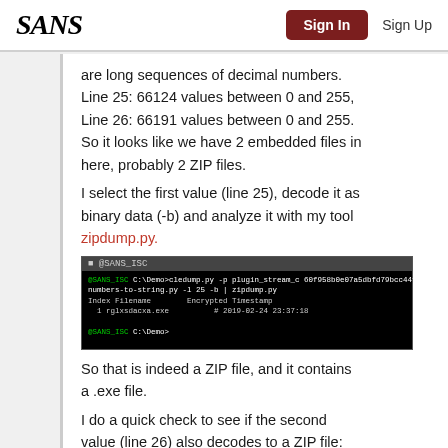SANS | Sign In | Sign Up
are long sequences of decimal numbers. Line 25: 66124 values between 0 and 255, Line 26: 66191 values between 0 and 255. So it looks like we have 2 embedded files in here, probably 2 ZIP files. I select the first value (line 25), decode it as binary data (-b) and analyze it with my tool zipdump.py.
[Figure (screenshot): Terminal window showing command: cledump.py -p plugin_stream_c ... numbers-to-string.py -l 25 -b | zipdump.py. Output shows Index Filename Encrypted Timestamp, 1 rglxsdacxa.exe # 2019-02-24 23:37:18]
So that is indeed a ZIP file, and it contains a .exe file. I do a quick check to see if the second value (line 26) also decodes to a ZIP file: